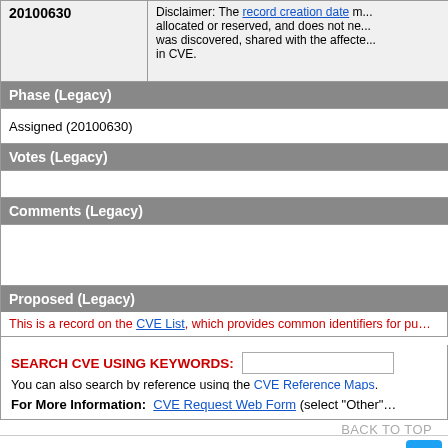| 20100630 (truncated) | Disclaimer: The record creation date m... allocated or reserved, and does not ne... was discovered, shared with the affecte... in CVE. |
| Phase (Legacy) |  |
| Assigned (20100630) |  |
| Votes (Legacy) |  |
|  |  |
| Comments (Legacy) |  |
|  |  |
| Proposed (Legacy) |  |
| N/A |  |
This is a record on the CVE List, which provides common identifiers for pu...
SEARCH CVE USING KEYWORDS:
You can also search by reference using the CVE Reference Maps.
For More Information:  CVE Request Web Form (select "Other"...
BACK TO TOP
Site Map | Terms of Use | Privacy Policy | Contact Us | Follow CVE